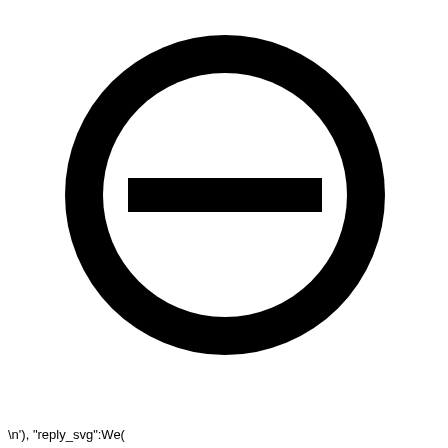[Figure (other): A large circle with a thick black border (no-entry / minus symbol icon) containing a horizontal black rectangle bar in the center, on a white background. Below the icon, partial text reads: \n'), "reply_svg":We(]
\n'), "reply_svg":We(